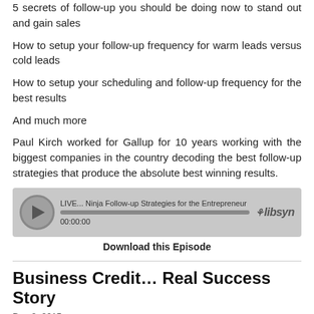5 secrets of follow-up you should be doing now to stand out and gain sales
How to setup your follow-up frequency for warm leads versus cold leads
How to setup your scheduling and follow-up frequency for the best results
And much more
Paul Kirch worked for Gallup for 10 years working with the biggest companies in the country decoding the best follow-up strategies that produce the absolute best winning results.
[Figure (screenshot): Audio player widget with play button, progress bar, track title 'LIVE... Ninja Follow-up Strategies for the Entrepreneur', time '00:00:00', and Libsyn logo]
Download this Episode
Business Credit… Real Success Story
Dec 2, 2015